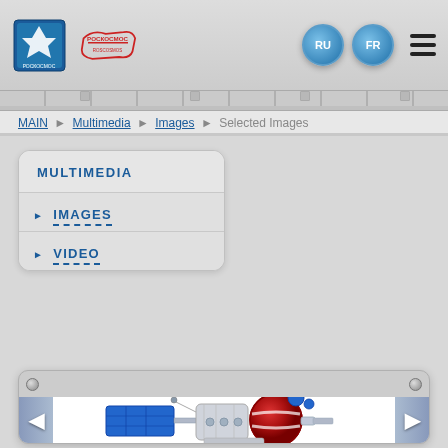Roscosmos website header with logos, RU FR language buttons and hamburger menu
MAIN ▶ Multimedia ▶ Images ▶ Selected Images
MULTIMEDIA
▶ IMAGES
▶ VIDEO
[Figure (illustration): 3D rendered spacecraft/satellite with blue solar panels and red spherical module, shown on white background inside a gallery slider]